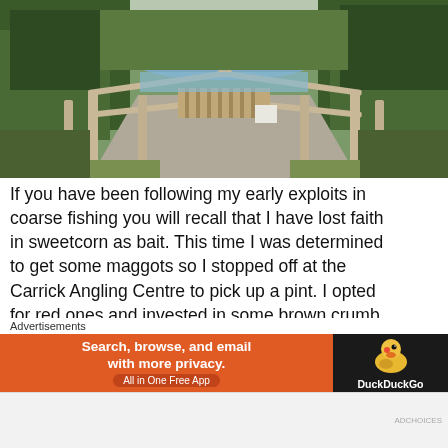[Figure (photo): Wooden ramp/jetty leading down to a lake or river, flanked by wooden fence rails on both sides, surrounded by green trees and vegetation. A dock/platform is visible at the water's edge.]
If you have been following my early exploits in coarse fishing you will recall that I have lost faith in sweetcorn as bait. This time I was determined to get some maggots so I stopped off at the Carrick Angling Centre to pick up a pint. I opted for red ones and invested in some brown crumb for ground bait while I was at it. Next. some brown bread from the
Advertisements
[Figure (screenshot): DuckDuckGo advertisement banner. Orange left panel with text 'Search, browse, and email with more privacy. All in One Free App'. Dark right panel with DuckDuckGo duck logo and 'DuckDuckGo' text.]